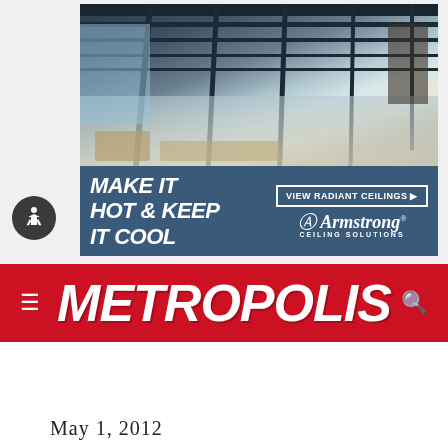[Figure (photo): Armstrong Ceiling Solutions advertisement showing a modern commercial interior with radiant ceiling panels, large windows, and open workspace. Text reads MAKE IT HOT & KEEP IT COOL with VIEW RADIANT CEILINGS button and Armstrong Ceiling Solutions logo.]
METROPOLIS
May 1, 2012